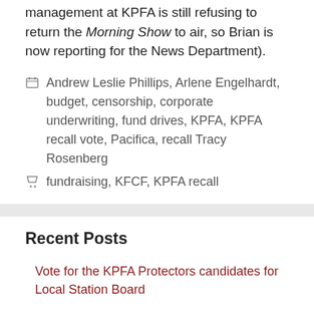management at KPFA is still refusing to return the Morning Show to air, so Brian is now reporting for the News Department).
Categories: Andrew Leslie Phillips, Arlene Engelhardt, budget, censorship, corporate underwriting, fund drives, KPFA, KPFA recall vote, Pacifica, recall Tracy Rosenberg
Tags: fundraising, KFCF, KPFA recall
Recent Posts
Vote for the KPFA Protectors candidates for Local Station Board